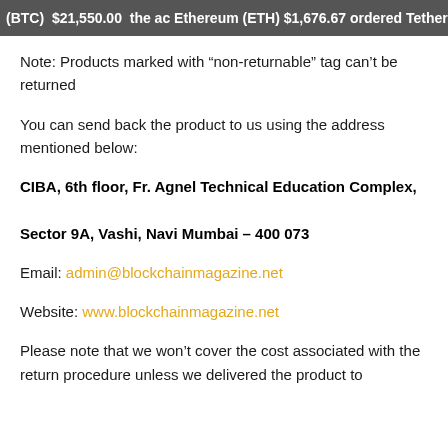(BTC) $21,550.00 the ac Ethereum (ETH) $1,676.67 ordered Tether (U
Note: Products marked with “non-returnable” tag can’t be returned
You can send back the product to us using the address mentioned below:
CIBA, 6th floor, Fr. Agnel Technical Education Complex, Sector 9A, Vashi, Navi Mumbai – 400 073
Email: admin@blockchainmagazine.net
Website: www.blockchainmagazine.net
Please note that we won’t cover the cost associated with the return procedure unless we delivered the product to